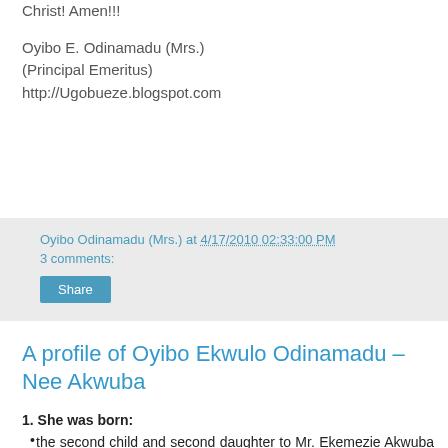Christ! Amen!!!
Oyibo E. Odinamadu (Mrs.)
(Principal Emeritus)
http://Ugobueze.blogspot.com
Oyibo Odinamadu (Mrs.) at 4/17/2010 02:33:00 PM
3 comments:
Share
A profile of Oyibo Ekwulo Odinamadu – Nee Akwuba
1. She was born:
the second child and second daughter to Mr. Ekemezie Akwuba of Umunogem Family, Umudunu Kindred, Dusogu Village, Awkuzu City, Oyi Local Government Area; and